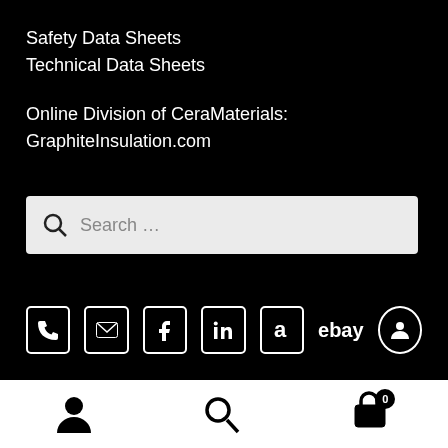Safety Data Sheets
Technical Data Sheets
Online Division of CeraMaterials:
GraphiteInsulation.com
Search …
[Figure (infographic): Row of social/contact icons: phone, email, Facebook, LinkedIn, Amazon, eBay, user account]
© CeraMaterials
[Figure (infographic): White bottom navigation bar with three icons: user/account, search magnifier, shopping cart with badge showing 0]